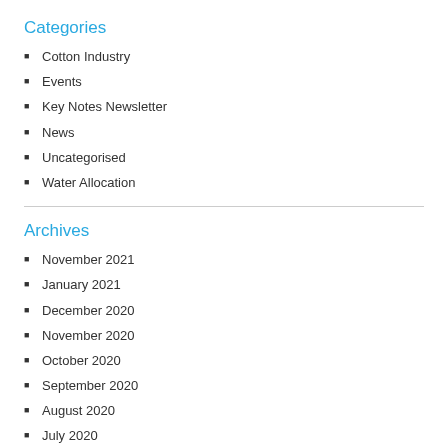Categories
Cotton Industry
Events
Key Notes Newsletter
News
Uncategorised
Water Allocation
Archives
November 2021
January 2021
December 2020
November 2020
October 2020
September 2020
August 2020
July 2020